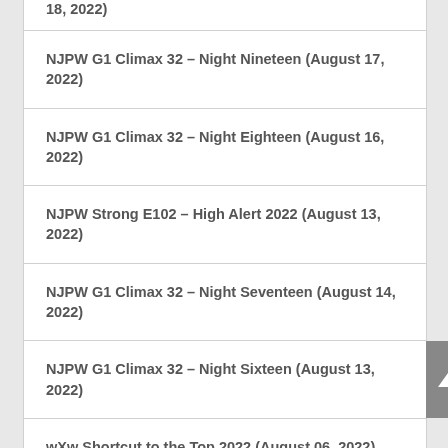18, 2022)
NJPW G1 Climax 32 – Night Nineteen (August 17, 2022)
NJPW G1 Climax 32 – Night Eighteen (August 16, 2022)
NJPW Strong E102 – High Alert 2022 (August 13, 2022)
NJPW G1 Climax 32 – Night Seventeen (August 14, 2022)
NJPW G1 Climax 32 – Night Sixteen (August 13, 2022)
wXw Shortcut to the Top 2022 (August 06, 2022)
NXT UK #204
NJPW G1 Climax 32 – Night Fifteen (August 10, 2022)